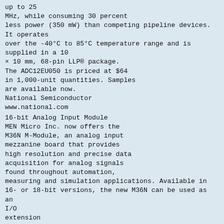up to 25 MHz, while consuming 30 percent less power (350 mW) than competing pipeline devices. It operates over the -40°C to 85°C temperature range and is supplied in a 10 × 10 mm, 68-pin LLP® package. The ADC12EU050 is priced at $64 in 1,000-unit quantities. Samples are available now. National Semiconductor www.national.com
16-bit Analog Input Module
MEN Micro Inc. now offers the M36N M-Module, an analog input mezzanine board that provides high resolution and precise data acquisition for analog signals found throughout automation, measuring and simulation applications. Available in 16- or 18-bit versions, the new M36N can be used as an I/O extension for CompactPCI, PCI, PXI or VME embedded systems as well as on stand-alone single board computers (SBCs). The numerous integrated functions of M-Modules make these cards especially useful for industrial I/O applications such as process data acquisition as well